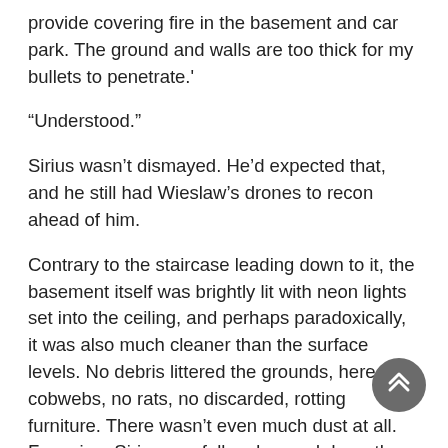provide covering fire in the basement and car park. The ground and walls are too thick for my bullets to penetrate.'
“Understood.”
Sirius wasn’t dismayed. He’d expected that, and he still had Wieslaw’s drones to recon ahead of him.
Contrary to the staircase leading down to it, the basement itself was brightly lit with neon lights set into the ceiling, and perhaps paradoxically, it was also much cleaner than the surface levels. No debris littered the grounds, here. No cobwebs, no rats, no discarded, rotting furniture. There wasn’t even much dust at all. Frowning, Sirius carefully advanced down the silent hallway stretching before him. There were a few metal doors on either side, all closed. The place lo…a remarkably like the entrance to his and Wieslaw’s